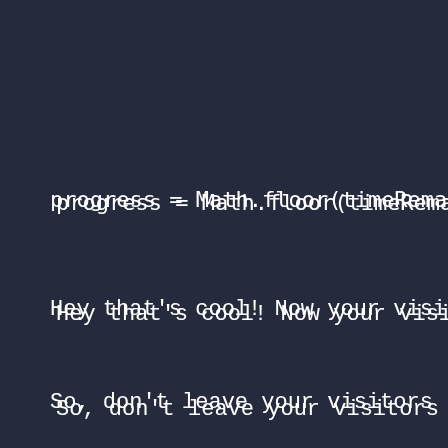progress = Math.floor(timeRemaini
Hey that's cool! Now your visitors (
So, don't leave your visitors twidd
And that's just the beginning. There